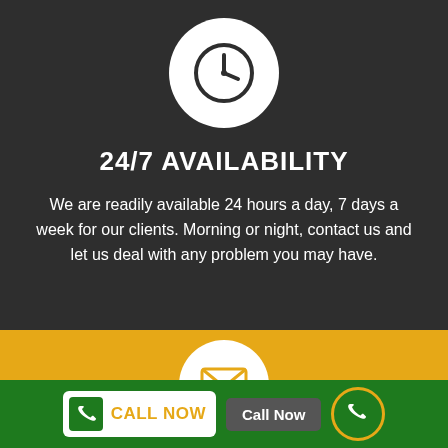[Figure (illustration): Clock icon inside a white circle on dark background]
24/7 AVAILABILITY
We are readily available 24 hours a day, 7 days a week for our clients. Morning or night, contact us and let us deal with any problem you may have.
[Figure (illustration): Envelope icon inside a white circle on yellow/amber background]
[Figure (infographic): Green bar with CALL NOW button (phone icon + text) and a Call Now label button, plus a green circle phone icon on the right]